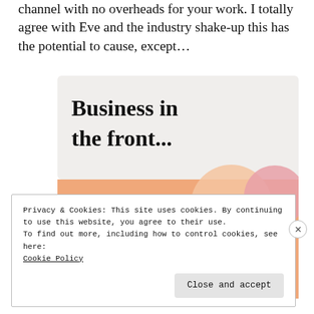channel with no overheads for your work. I totally agree with Eve and the industry shake-up this has the potential to cause, except...
[Figure (illustration): Advertisement box with two sections: top section on light gray background reading 'Business in the front...' in bold serif font; bottom section on orange/peach background with decorative circles reading 'WordPress in the back.' in bold serif font]
Privacy & Cookies: This site uses cookies. By continuing to use this website, you agree to their use.
To find out more, including how to control cookies, see here:
Cookie Policy

Close and accept